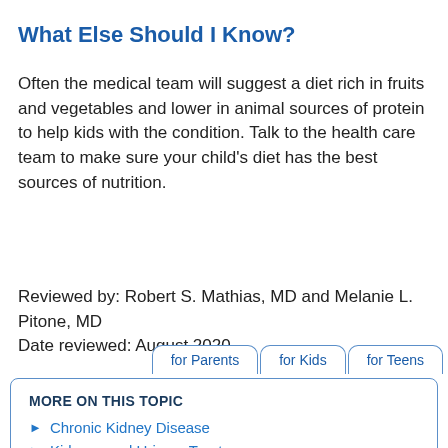What Else Should I Know?
Often the medical team will suggest a diet rich in fruits and vegetables and lower in animal sources of protein to help kids with the condition. Talk to the health care team to make sure your child’s diet has the best sources of nutrition.
Reviewed by: Robert S. Mathias, MD and Melanie L. Pitone, MD
Date reviewed: August 2020
Chronic Kidney Disease
Kidneys and Urinary Tract